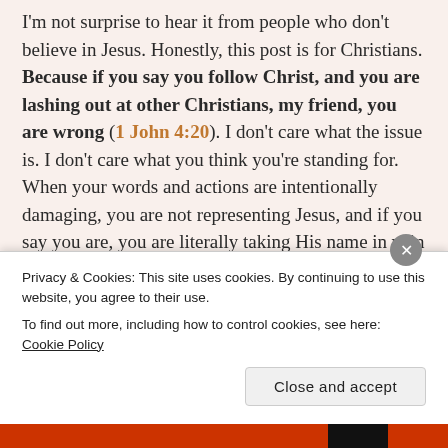I'm not surprise to hear it from people who don't believe in Jesus. Honestly, this post is for Christians. Because if you say you follow Christ, and you are lashing out at other Christians, my friend, you are wrong (1 John 4:20). I don't care what the issue is. I don't care what you think you're standing for. When your words and actions are intentionally damaging, you are not representing Jesus, and if you say you are, you are literally taking His name in vain—putting His stamp of approval on actions He would never sanction.
There are so many issues floating around right now...
Privacy & Cookies: This site uses cookies. By continuing to use this website, you agree to their use.
To find out more, including how to control cookies, see here: Cookie Policy